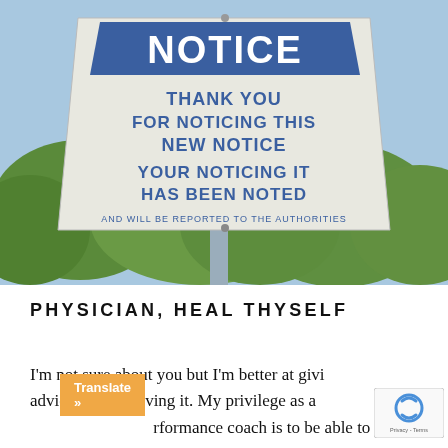[Figure (photo): Photograph of a humorous sign on a pole against a blue sky with trees. The sign reads: NOTICE / THANK YOU FOR NOTICING THIS NEW NOTICE / YOUR NOTICING IT HAS BEEN NOTED / AND WILL BE REPORTED TO THE AUTHORITIES]
PHYSICIAN, HEAL THYSELF
I'm not sure about you but I'm better at giving advice than receiving it. My privilege as a performance coach is to be able to